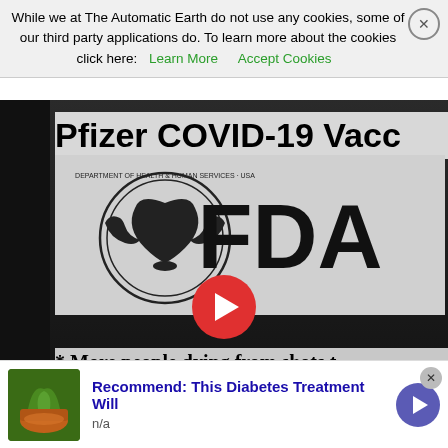While we at The Automatic Earth do not use any cookies, some of our third party applications do. To learn more about the cookies click here: Learn More   Accept Cookies
[Figure (screenshot): Screenshot of a video player showing content titled 'Pfizer COVID-19 Vacc...' with FDA logo visible, a red play button overlay, and bullet points reading: '* More people dying from shots t', '* 71 times more suffering heart a', '* 1000% increase in adverse even', '* Vaccine Hesitant smarter than'. Video controls show 00:00 timestamp at bottom.]
[Figure (infographic): Advertisement banner: image of a drink/plant bowl on left, text 'Recommend: This Diabetes Treatment Will' in blue, 'n/a' below, with purple arrow button on right.]